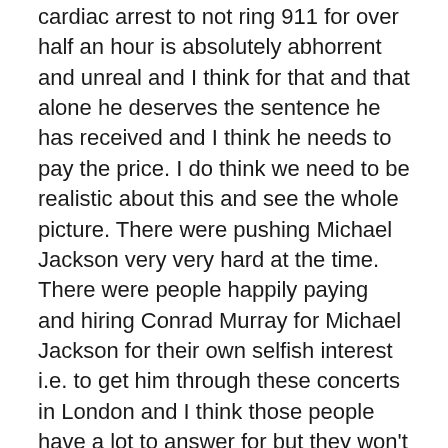cardiac arrest to not ring 911 for over half an hour is absolutely abhorrent and unreal and I think for that and that alone he deserves the sentence he has received and I think he needs to pay the price. I do think we need to be realistic about this and see the whole picture. There were pushing Michael Jackson very very hard at the time. There were people happily paying and hiring Conrad Murray for Michael Jackson for their own selfish interest i.e. to get him through these concerts in London and I think those people have a lot to answer for but they won't answer for these actions in the courtroom like Conrad Murray did.
Int 2: What does this mean Paul for his legacy and his family, what happens now?
PM: I think for his legacy … look there's another Michael Jackson album out in another couple of weeks. There are